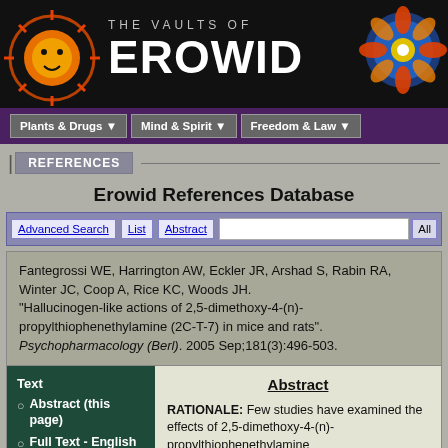[Figure (screenshot): The Vaults of Erowid website header banner with sun logo on left, site name in center, mandala graphic on right]
THE VAULTS OF EROWID
Plants & Drugs | Mind & Spirit | Freedom & Law
REFERENCES
Erowid References Database
Advanced Search | List | Abstract | All
Fantegrossi WE, Harrington AW, Eckler JR, Arshad S, Rabin RA, Winter JC, Coop A, Rice KC, Woods JH. "Hallucinogen-like actions of 2,5-dimethoxy-4-(n)-propylthiophenethylamine (2C-T-7) in mice and rats". Psychopharmacology (Berl). 2005 Sep;181(3):496-503.
Text
Abstract (this page)
Full Text - English (private)
Abstract
RATIONALE: Few studies have examined the effects of 2,5-dimethoxy-4-(n)-propylthiophenethylamine